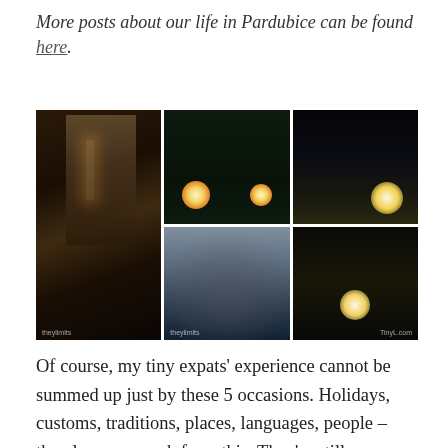More posts about our life in Pardubice can be found here.
[Figure (photo): Six-photo grid collage showing night scenes in Pardubice: a person in a dark cloak near a lit lamp on a brick wall, children looking at glowing lanterns, a dark sky with illuminated buildings, a large crowd gathered in a town square, and people carrying glowing paper lanterns at night.]
Of course, my tiny expats' experience cannot be summed up just by these 5 occasions. Holidays, customs, traditions, places, languages, people – they learn so much from this. They're still very little and might forget some of it, so I'll just keep on writing